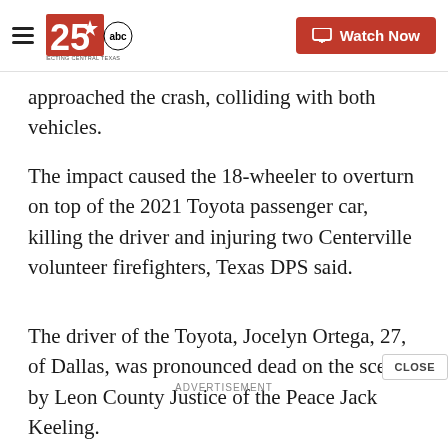KXXV 25 ABC - Connecting Central Texas | Watch Now
approached the crash, colliding with both vehicles.
The impact caused the 18-wheeler to overturn on top of the 2021 Toyota passenger car, killing the driver and injuring two Centerville volunteer firefighters, Texas DPS said.
The driver of the Toyota, Jocelyn Ortega, 27, of Dallas, was pronounced dead on the scene by Leon County Justice of the Peace Jack Keeling.
Firefighter Colten Adams, 21, of Centerville, was taken by medical helicopter to Baylor Scott & White...